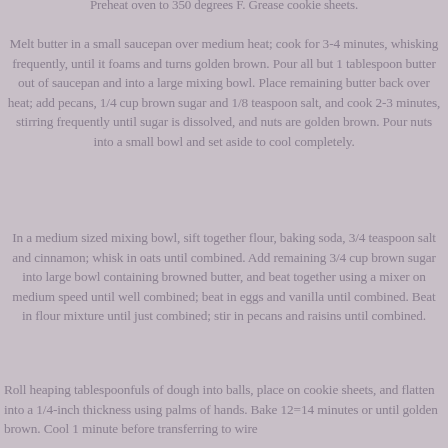Preheat oven to 350 degrees F. Grease cookie sheets.
Melt butter in a small saucepan over medium heat; cook for 3-4 minutes, whisking frequently, until it foams and turns golden brown. Pour all but 1 tablespoon butter out of saucepan and into a large mixing bowl. Place remaining butter back over heat; add pecans, 1/4 cup brown sugar and 1/8 teaspoon salt, and cook 2-3 minutes, stirring frequently until sugar is dissolved, and nuts are golden brown. Pour nuts into a small bowl and set aside to cool completely.
In a medium sized mixing bowl, sift together flour, baking soda, 3/4 teaspoon salt and cinnamon; whisk in oats until combined. Add remaining 3/4 cup brown sugar into large bowl containing browned butter, and beat together using a mixer on medium speed until well combined; beat in eggs and vanilla until combined. Beat in flour mixture until just combined; stir in pecans and raisins until combined.
Roll heaping tablespoonfuls of dough into balls, place on cookie sheets, and flatten into a 1/4-inch thickness using palms of hands. Bake 12=14 minutes or until golden brown. Cool 1 minute before transferring to wire